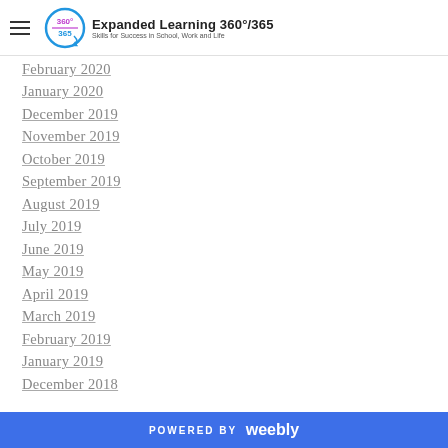Expanded Learning 360°/365 Skills for Success in School, Work and Life
February 2020
January 2020
December 2019
November 2019
October 2019
September 2019
August 2019
July 2019
June 2019
May 2019
April 2019
March 2019
February 2019
January 2019
December 2018
POWERED BY weebly